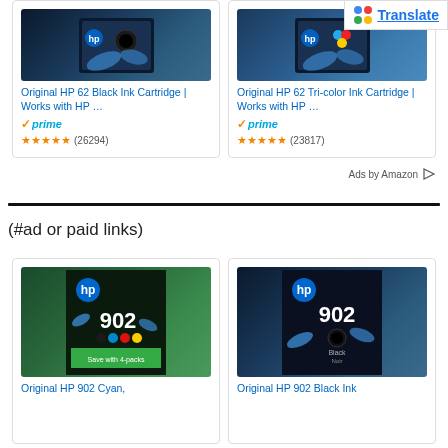[Figure (screenshot): Amazon ad card: Original HP 62 Black Ink Cartridge with Prime badge and 4.5 star rating (26294 reviews)]
Original HP 62 Black Ink Cartridge | Works with HP …
✓prime
★★★★★ (26294)
[Figure (screenshot): Amazon ad card: Original HP 62 Tri-color Ink Cartridge with Prime badge and 4.5 star rating (23817 reviews)]
Original HP 62 Tri-color Ink Cartridge | Works with HP …
✓prime
★★★★★ (23817)
Ads by Amazon
[Figure (logo): Google Translate button overlay]
(#ad or paid links)
[Figure (screenshot): HP 902 Cyan/Magenta/Yellow ink cartridge product image - bottom left ad]
Original HP 902 Cyan,
[Figure (screenshot): HP 902 Black ink cartridge product image - bottom right ad]
Original HP 902 Black Ink